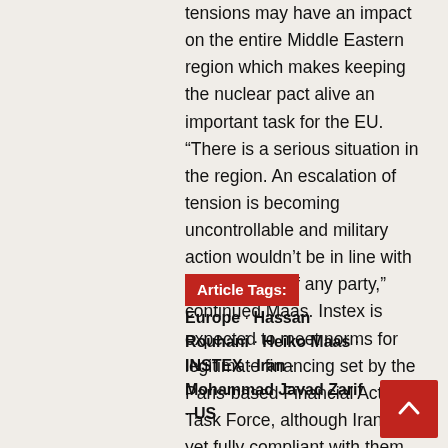tensions may have an impact on the entire Middle Eastern region which makes keeping the nuclear pact alive an important task for the EU. “There is a serious situation in the region. An escalation of tension is becoming uncontrollable and military action wouldn’t be in line with the interests of any party,” continued Maas. Instex is expected to meet norms for legitimate financing set by the Paris-based Financial Action Task Force, although Iran is not yet fully compliant with them.
Article Tags: Europe · Hassan Rouhani · Heiko Maas · INSTEX · Iran · Mohammad Javad Zarif · US